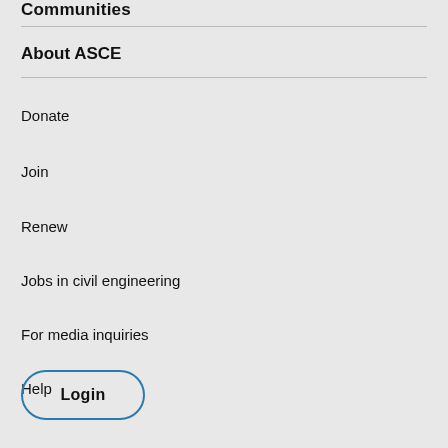Communities
About ASCE
Donate
Join
Renew
Jobs in civil engineering
For media inquiries
Help
Login